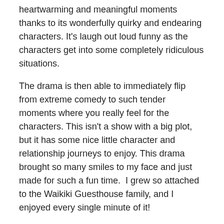heartwarming and meaningful moments thanks to its wonderfully quirky and endearing characters. It's laugh out loud funny as the characters get into some completely ridiculous situations.
The drama is then able to immediately flip from extreme comedy to such tender moments where you really feel for the characters. This isn't a show with a big plot, but it has some nice little character and relationship journeys to enjoy. This drama brought so many smiles to my face and just made for such a fun time.  I grew so attached to the Waikiki Guesthouse family, and I enjoyed every single minute of it!
My Rating: 10/10 (Eulachacha Waikiki Review)
Other Dramas I Completed in 2018